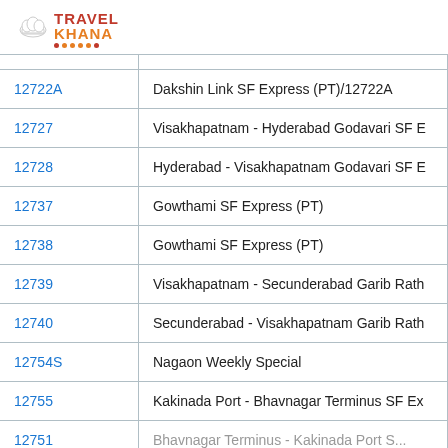[Figure (logo): Travel Khana logo with chef hat icon, red 'TRAVEL' and orange 'KHANA' text with orange dots underline]
| Train No. | Train Name |
| --- | --- |
| 12722A | Dakshin Link SF Express (PT)/12722A |
| 12727 | Visakhapatnam - Hyderabad Godavari SF E |
| 12728 | Hyderabad - Visakhapatnam Godavari SF E |
| 12737 | Gowthami SF Express (PT) |
| 12738 | Gowthami SF Express (PT) |
| 12739 | Visakhapatnam - Secunderabad Garib Rath |
| 12740 | Secunderabad - Visakhapatnam Garib Rath |
| 12754S | Nagaon Weekly Special |
| 12755 | Kakinada Port - Bhavnagar Terminus SF Ex |
| 12751 | Bhavnagar Terminus - Kakinada Port S... |